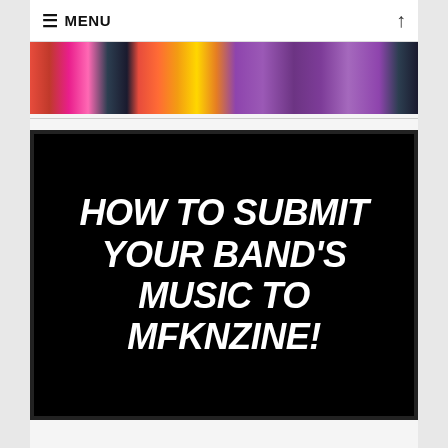≡ MENU
[Figure (photo): A horizontal strip of colorful flowers including red, pink, yellow, orange and purple flowers against a dark background.]
[Figure (illustration): Black background image with bold italic white text reading: HOW TO SUBMIT YOUR BAND'S MUSIC TO MFKNZINE!]